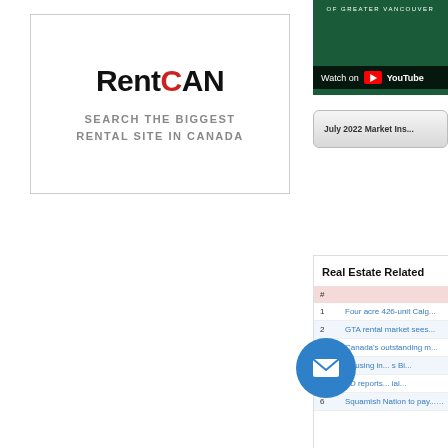[Figure (logo): RentCAN advertisement: logo with text 'RentCAN' and tagline 'SEARCH THE BIGGEST RENTAL SITE IN CANADA']
[Figure (screenshot): YouTube video thumbnail showing Greater Vancouver real estate content with 'Watch on YouTube' overlay]
[Figure (other): Button or link labeled 'July 2022 Market Ins...']
Real Estate Related
| # |  |
| --- | --- |
| 1 | Four acre 426-unit Calg... |
| 2 | GTA rental market sees... |
| 3 | Canada's outstanding m... |
| 4 | Housing in... s Bi... |
| 5 | TD reports... ial... |
| 6 | Squamish Nation to pay... LorTwareg... |
[Figure (other): Blue circular email/contact icon button]